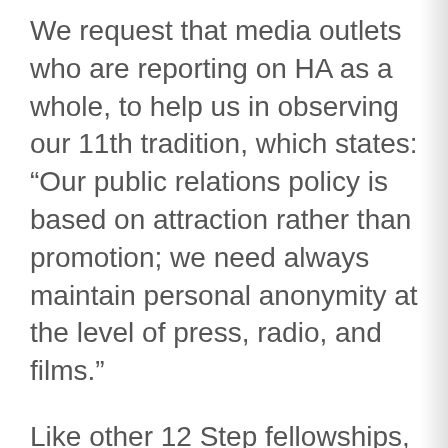We request that media outlets who are reporting on HA as a whole, to help us in observing our 11th tradition, which states: “Our public relations policy is based on attraction rather than promotion; we need always maintain personal anonymity at the level of press, radio, and films.”
Like other 12 Step fellowships, the name Heroin Anonymous has gained widespread distribution thanks to media outlets such as